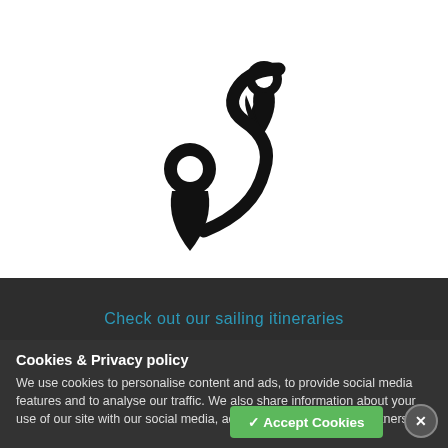[Figure (logo): Two map location pin icons connected by a winding route path, forming a navigation/itinerary logo in black.]
SAILING ITINERARIES
Check out our sailing itineraries
Cookies & Privacy policy
We use cookies to personalise content and ads, to provide social media features and to analyse our traffic. We also share information about your use of our site with our social media, advertising and analytics partners.
✓ Accept Cookies
×